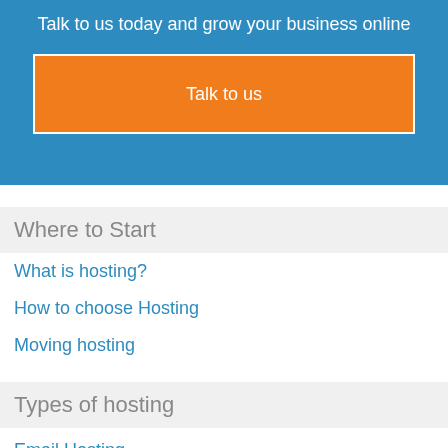Talk to us today and grow your business online
Talk to us
Where to Start
What is hosting?
How to choose Hosting
Moving hosting
Types of hosting
Email Hosting